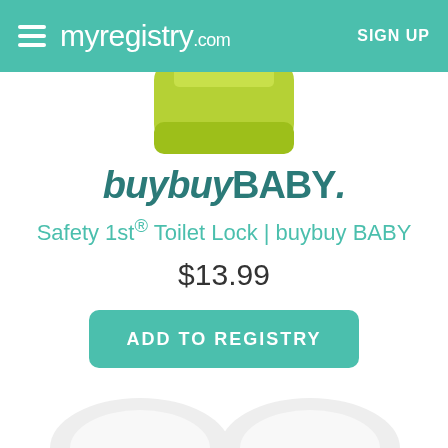myregistry.com  SIGN UP
[Figure (photo): Green product partially visible at top of page, cropped view]
[Figure (logo): buybuyBABY logo in teal/dark teal italic bold font]
Safety 1st® Toilet Lock | buybuy BABY
$13.99
ADD TO REGISTRY
BUY
[Figure (photo): White toilet lock product shown at bottom, partially cropped]